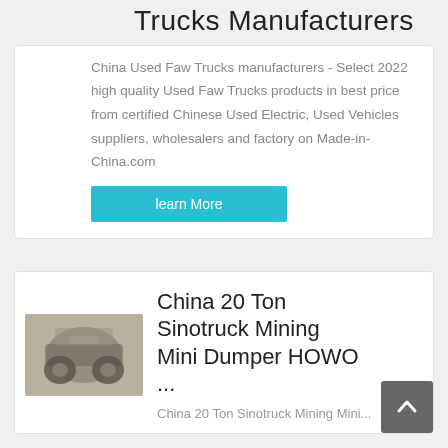Trucks Manufacturers
China Used Faw Trucks manufacturers - Select 2022 high quality Used Faw Trucks products in best price from certified Chinese Used Electric, Used Vehicles suppliers, wholesalers and factory on Made-in-China.com
learn More
[Figure (photo): Underside/chassis view of a truck or heavy vehicle component]
China 20 Ton Sinotruck Mining Mini Dumper HOWO ...
China 20 Ton Sinotruck Mining Mini...